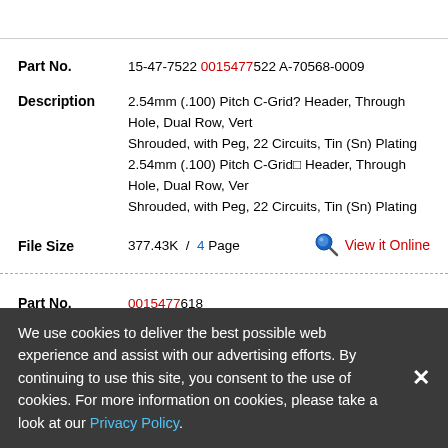Part No. 15-47-7522 0015477522 A-70568-0009
Description 2.54mm (.100) Pitch C-Grid? Header, Through Hole, Dual Row, Vert Shrouded, with Peg, 22 Circuits, Tin (Sn) Plating 2.54mm (.100) Pitch C-Grid Header, Through Hole, Dual Row, Vert Shrouded, with Peg, 22 Circuits, Tin (Sn) Plating
File Size 377.43K / 4 Page  View it Online
Part No. 0015477618
Description CONN HEADER 18POS VERT GOLD T/H
We use cookies to deliver the best possible web experience and assist with our advertising efforts. By continuing to use this site, you consent to the use of cookies. For more information on cookies, please take a look at our Privacy Policy.